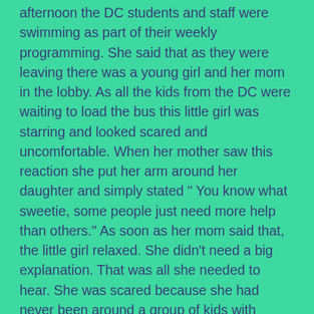afternoon the DC students and staff were swimming as part of their weekly programming. She said that as they were leaving there was a young girl and her mom in the lobby. As all the kids from the DC were waiting to load the bus this little girl was starring and looked scared and uncomfortable. When her mother saw this reaction she put her arm around her daughter and simply stated " You know what sweetie, some people just need more help than others." As soon as her mom said that, the little girl relaxed. She didn't need a big explanation. That was all she needed to hear. She was scared because she had never been around a group of kids with disabilities before, but all she needed to hear was that they needed a little extra help. They are still kids with personalities just like her, but they just need a little extra help.
I think this is a common reaction for children, and sometimes adults, but why do we just state it simply